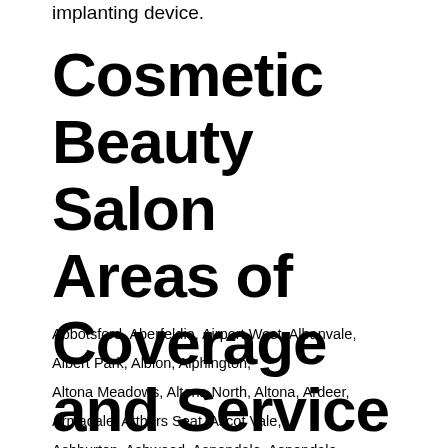implanting device.
Cosmetic Beauty Salon Areas of Coverage and Service
Abbotsford, Aberfeldie, Airport West, Albanvale, Albert Park, Albion, Alphington, Altona Meadows, Altona North, Altona, Ardeer, Armadale, Arthurs Seat, Ascot Vale, Ashburton, Ashwood, Aspendale, Aspendale Gardens, Attwood, Auburn, Aurora, Avondale Heights, Avonsleigh, Balaclava, Balwyn, Balwyn North, Bangholme, Baxter, Bayswater, Bayswater North, Beaconsfield, Beaumaris, Belgrave, Belgrave Heights, Belgrave South, Bellfield, Bennettswood, Bentleigh, Bentleigh East, Berwick, Bittern,